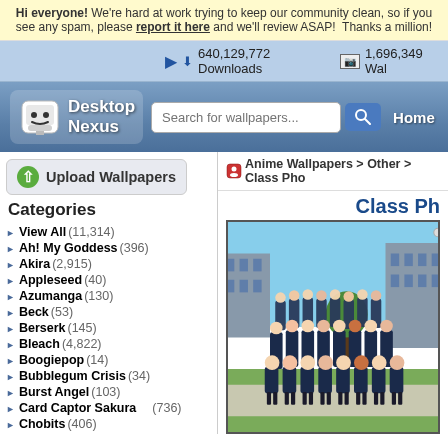Hi everyone! We're hard at work trying to keep our community clean, so if you see any spam, please report it here and we'll review ASAP! Thanks a million!
640,129,772 Downloads   1,696,349 Wallpapers
[Figure (screenshot): Desktop Nexus website header with logo, search bar, and Home navigation link]
[Figure (other): Upload Wallpapers green button]
Anime Wallpapers > Other > Class Photo
Categories
View All (11,314)
Ah! My Goddess (396)
Akira (2,915)
Appleseed (40)
Azumanga (130)
Beck (53)
Berserk (145)
Bleach (4,822)
Boogiepop (14)
Bubblegum Crisis (34)
Burst Angel (103)
Card Captor Sakura (736)
Chobits (406)
Chrono Crusade (61)
Class Photo
[Figure (illustration): Anime class photo wallpaper showing anime schoolgirls in uniform posing in front of a building]